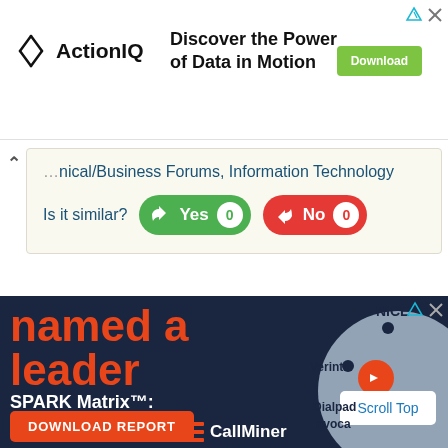[Figure (infographic): ActionIQ advertisement banner: ActionIQ logo on left, tagline 'Discover the Power of Data in Motion', green Download button on right]
nical/Business Forums, Information Technology
Is it similar?
Yes 0
No 0
[Figure (infographic): CallMiner advertisement: dark navy background, orange text 'named a leader', white text 'SPARK Matrix™: Speech Analytics', orange DOWNLOAD REPORT button, scatter plot chart showing NICE, Verint, Dialpad, Invoca positions, CallMiner logo at bottom, Scroll Top button overlay]